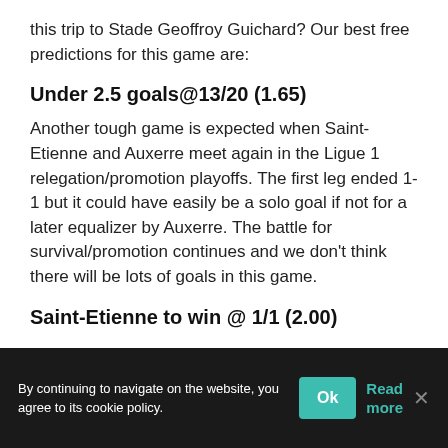this trip to Stade Geoffroy Guichard? Our best free predictions for this game are:
Under 2.5 goals@13/20 (1.65)
Another tough game is expected when Saint-Etienne and Auxerre meet again in the Ligue 1 relegation/promotion playoffs. The first leg ended 1-1 but it could have easily be a solo goal if not for a later equalizer by Auxerre. The battle for survival/promotion continues and we don't think there will be lots of goals in this game.
Saint-Etienne to win @ 1/1 (2.00)
By continuing to navigate on the website, you agree to its cookie policy.